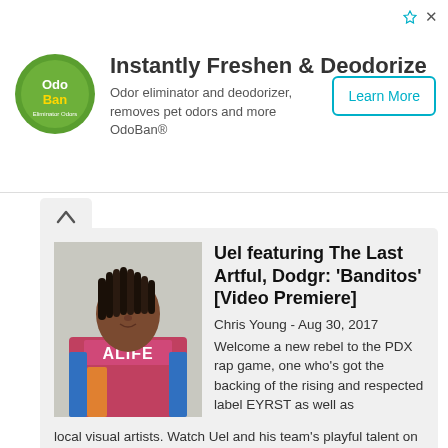[Figure (logo): OdoBan logo — green circular logo with 'OdoBan' text]
Instantly Freshen & Deodorize
Odor eliminator and deodorizer, removes pet odors and more OdoBan®
Learn More
Uel featuring The Last Artful, Dodgr: 'Banditos' [Video Premiere]
Chris Young - Aug 30, 2017
Welcome a new rebel to the PDX rap game, one who's got the backing of the rising and respected label EYRST as well as local visual artists. Watch Uel and his team's playful talent on display as...
[Figure (photo): Young Black man with dreadlocks wearing a colorful ALIFE t-shirt, looking to the side against a light background]